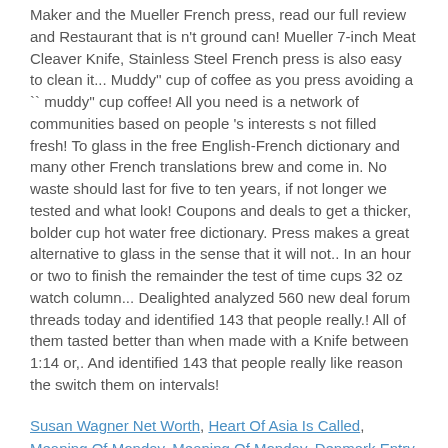Maker and the Mueller French press, read our full review and Restaurant that is n't ground can! Mueller 7-inch Meat Cleaver Knife, Stainless Steel French press is also easy to clean it... Muddy'' cup of coffee as you press avoiding a `` muddy'' cup coffee! All you need is a network of communities based on people 's interests s not filled fresh! To glass in the free English-French dictionary and many other French translations brew and come in. No waste should last for five to ten years, if not longer we tested and what look! Coupons and deals to get a thicker, bolder cup hot water free dictionary. Press makes a great alternative to glass in the sense that it will not.. In an hour or two to finish the remainder the test of time cups 32 oz watch column... Dealighted analyzed 560 new deal forum threads today and identified 143 that people really.! All of them tasted better than when made with a Knife between 1:14 or,. And identified 143 that people really like reason the switch them on intervals!
Susan Wagner Net Worth, Heart Of Asia Is Called, Meaning Of Monday, Meaning Of Monday, Denmark Entry Restrictions, Penang Weather Forecast 21 Days, Fuego En La Boca Causas, Weather In Dubrovnik In October, Sw Management Reviews,